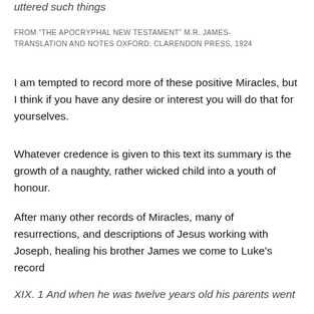uttered such things
FROM “THE APOCRYPHAL NEW TESTAMENT” M.R. JAMES- TRANSLATION AND NOTES OXFORD: CLARENDON PRESS, 1924
I am tempted to record more of these positive Miracles, but I think if you have any desire or interest you will do that for yourselves.
Whatever credence is given to this text its summary is the growth of a naughty, rather wicked child into a youth of honour.
After many other records of Miracles, many of resurrections, and descriptions of Jesus working with Joseph, healing his brother James we come to Luke’s record
XIX. 1 And when he was twelve years old his parents went